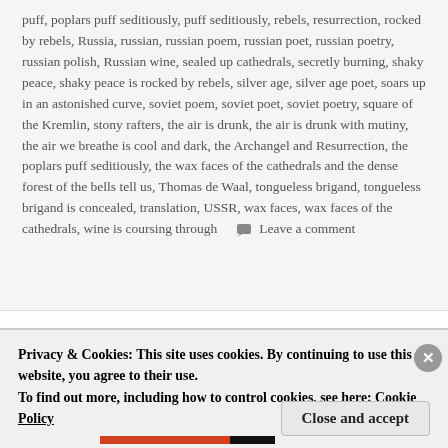puff, poplars puff seditiously, puff seditiously, rebels, resurrection, rocked by rebels, Russia, russian, russian poem, russian poet, russian poetry, russian polish, Russian wine, sealed up cathedrals, secretly burning, shaky peace, shaky peace is rocked by rebels, silver age, silver age poet, soars up in an astonished curve, soviet poem, soviet poet, soviet poetry, square of the Kremlin, stony rafters, the air is drunk, the air is drunk with mutiny, the air we breathe is cool and dark, the Archangel and Resurrection, the poplars puff seditiously, the wax faces of the cathedrals and the dense forest of the bells tell us, Thomas de Waal, tongueless brigand, tongueless brigand is concealed, translation, USSR, wax faces, wax faces of the cathedrals, wine is coursing through   Leave a comment
Дамбу и сын (Dombey and
Privacy & Cookies: This site uses cookies. By continuing to use this website, you agree to their use.
To find out more, including how to control cookies, see here: Cookie Policy
Close and accept